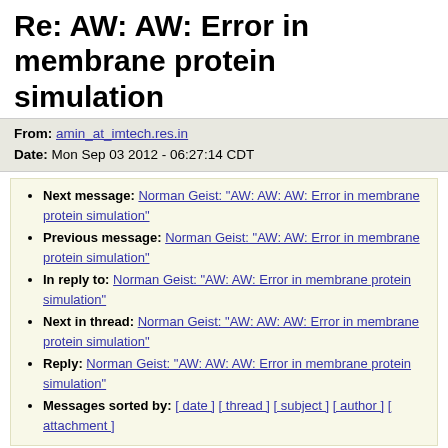Re: AW: AW: Error in membrane protein simulation
From: amin_at_imtech.res.in
Date: Mon Sep 03 2012 - 06:27:14 CDT
Next message: Norman Geist: "AW: AW: AW: Error in membrane protein simulation"
Previous message: Norman Geist: "AW: AW: Error in membrane protein simulation"
In reply to: Norman Geist: "AW: AW: Error in membrane protein simulation"
Next in thread: Norman Geist: "AW: AW: AW: Error in membrane protein simulation"
Reply: Norman Geist: "AW: AW: AW: Error in membrane protein simulation"
Messages sorted by: [ date ] [ thread ] [ subject ] [ author ] [ attachment ]
Thanks. I tried as you said and after pbc wrap all I just see a lot of long
lines crossing each other and everything is cluttered together. I